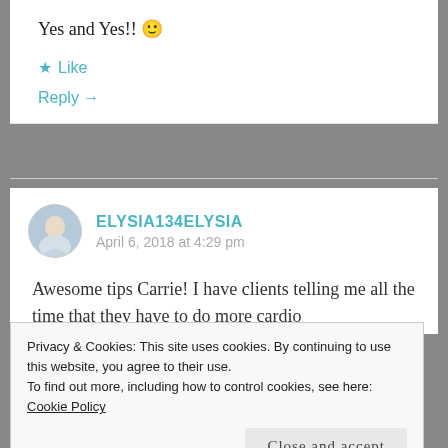Yes and Yes!! 🙂
★ Like
Reply →
ELYSIA134ELYSIA
April 6, 2018 at 4:29 pm
Awesome tips Carrie! I have clients telling me all the time that they have to do more cardio
Privacy & Cookies: This site uses cookies. By continuing to use this website, you agree to their use.
To find out more, including how to control cookies, see here: Cookie Policy
Close and accept